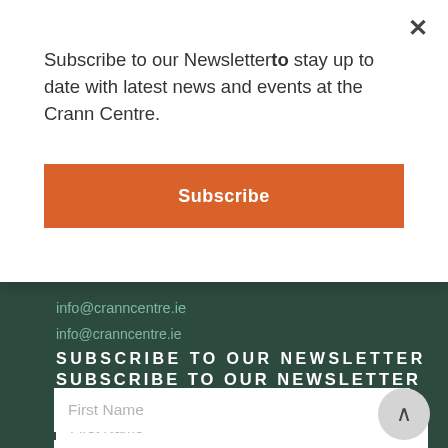info@cranncentre.ie
SUBSCRIBE TO OUR NEWSLETTER
First Name
Last Name
Email Address
SIGN UP
Subscribe to our Newsletter to stay up to date with latest news and events at the Crann Centre.
Subscribe